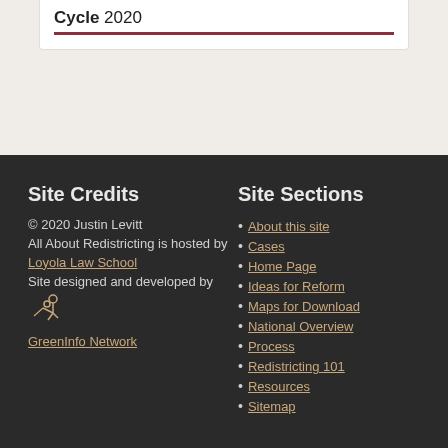Cycle 2020
Site Credits
© 2020 Justin Levitt
All About Redistricting is hosted by Loyola Law School
Site designed and developed by GreenInfo Network
Site Sections
About this site
Cases
Home Page
Ideas for Reform
Maps for Download
National Overview
Process
Redistricting 101
Resources
Sitemap